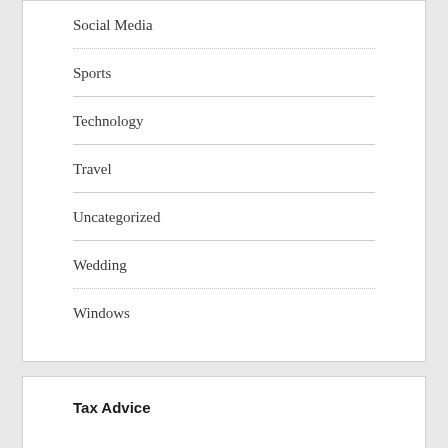Social Media
Sports
Technology
Travel
Uncategorized
Wedding
Windows
Tax Advice